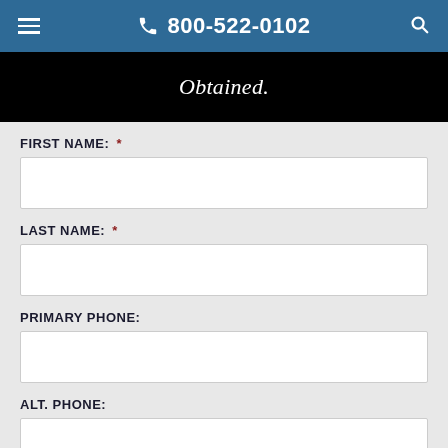☰  800-522-0102  🔍
Obtained.
FIRST NAME: *
LAST NAME: *
PRIMARY PHONE:
ALT. PHONE: